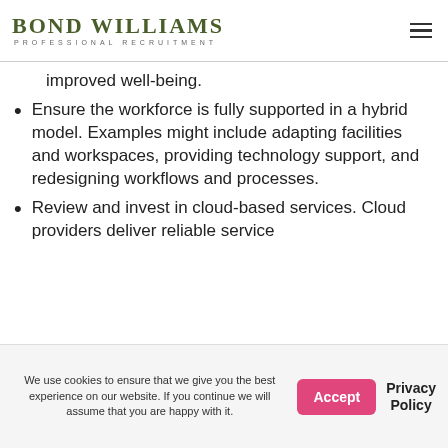BOND WILLIAMS PROFESSIONAL RECRUITMENT
improved well-being.
Ensure the workforce is fully supported in a hybrid model. Examples might include adapting facilities and workspaces, providing technology support, and redesigning workflows and processes.
Review and invest in cloud-based services. Cloud providers deliver reliable service
We use cookies to ensure that we give you the best experience on our website. If you continue we will assume that you are happy with it.
Accept
Privacy Policy